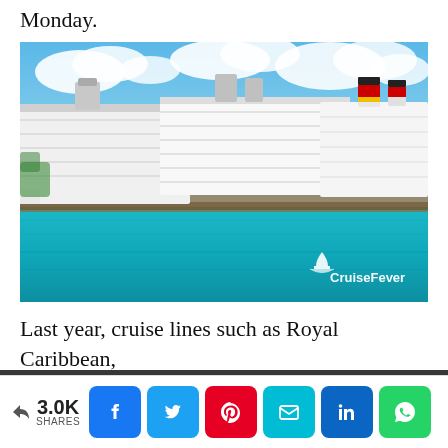Monday.
[Figure (photo): Multiple large cruise ships docked at a tropical port with clear blue-green water in the foreground and blue sky with clouds above. CruiseFever watermark in bottom right.]
Last year, cruise lines such as Royal Caribbean, Carnival Cruise Line, Norwegian Cruise Line, MSC Cruises, and Princess Cruises (just to name a few)
3.0K SHARES  [Facebook] [Twitter] [Pinterest] [Email] [LinkedIn] [WhatsApp]